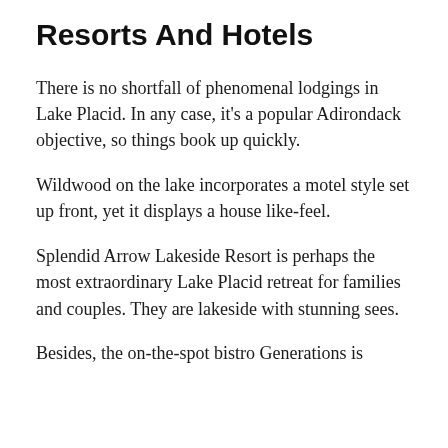Resorts And Hotels
There is no shortfall of phenomenal lodgings in Lake Placid. In any case, it's a popular Adirondack objective, so things book up quickly.
Wildwood on the lake incorporates a motel style set up front, yet it displays a house like-feel.
Splendid Arrow Lakeside Resort is perhaps the most extraordinary Lake Placid retreat for families and couples. They are lakeside with stunning sees.
Besides, the on-the-spot bistro Generations is